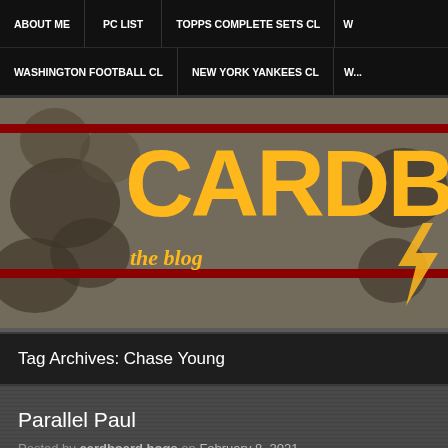ABOUT ME | PC LIST | TOPPS COMPLETE SETS CL | WASHINGTON FOOTBALL CL | NEW YORK YANKEES CL | W...
[Figure (screenshot): Cardboard Hogs blog banner with yellow text 'CARDBOARD H' on camouflage dark background with red horizontal stripes, subtitle 'the blog' in italic yellow, and a partial lightning bolt graphic on right]
Tag Archives: Chase Young
Parallel Paul
Posted by cardboard hogs on February 8, 2021